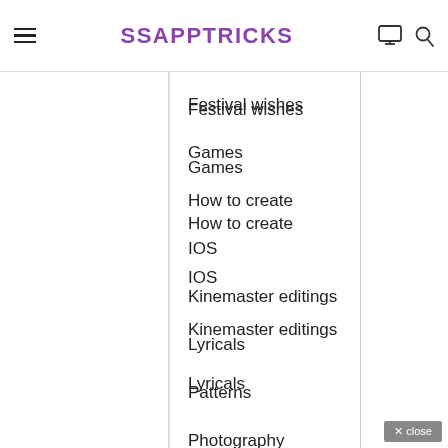SSAPPTRICKS
Festival wishes
Games
How to create
IOS
Kinemaster editings
Lyricals
Patterns
Photography
Race Games
Seasons
Technology
Templates